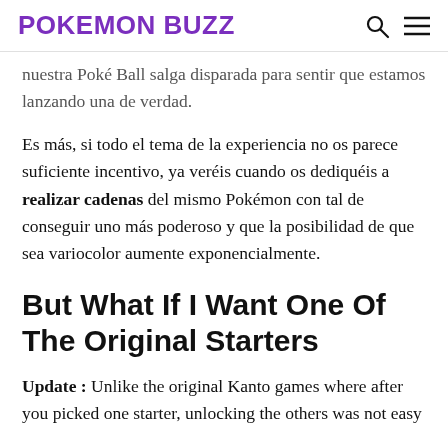POKEMON BUZZ
nuestra Poké Ball salga disparada para sentir que estamos lanzando una de verdad.
Es más, si todo el tema de la experiencia no os parece suficiente incentivo, ya veréis cuando os dediquéis a realizar cadenas del mismo Pokémon con tal de conseguir uno más poderoso y que la posibilidad de que sea variocolor aumente exponencialmente.
But What If I Want One Of The Original Starters
Update : Unlike the original Kanto games where after you picked one starter, unlocking the others was not easy